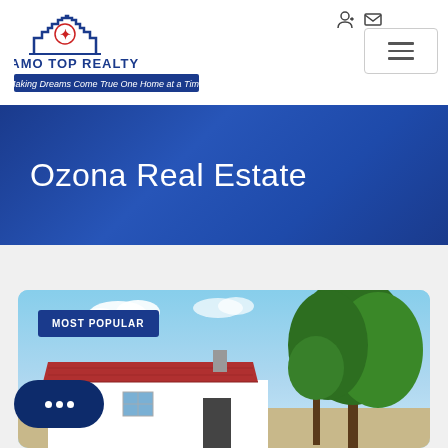[Figure (logo): Alamo Top Realty logo with alamo silhouette, star icon, and tagline 'Making Dreams Come True One Home at a Time']
Ozona Real Estate
[Figure (photo): Exterior photo of a house with red metal roof, white walls, large trees with green foliage, and blue sky with clouds. Badge reading 'MOST POPULAR' in top left corner.]
[Figure (other): Chat widget button with three dots indicating a chat interface]